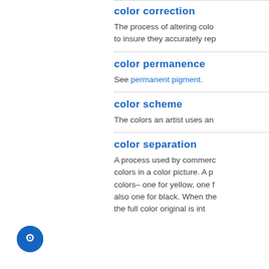color correction
The process of altering colors to insure they accurately rep...
color permanence
See permanent pigment.
color scheme
The colors an artist uses an...
color separation
A process used by commerc... colors in a color picture. A p... colors– one for yellow, one f... also one for black. When the... the full color original is int...